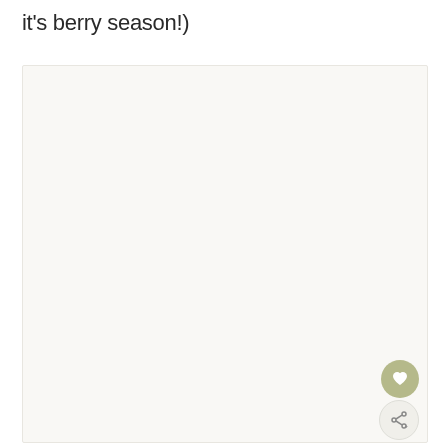it's berry season!)
[Figure (photo): Large light-colored image placeholder box with off-white/cream background, containing a heart (favorite) button and a share button in the bottom-right corner.]